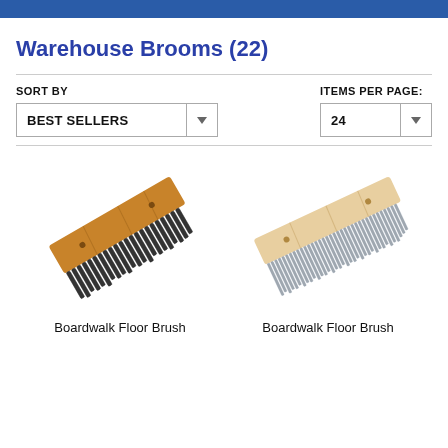Warehouse Brooms (22)
SORT BY: BEST SELLERS | ITEMS PER PAGE: 24
[Figure (photo): Boardwalk Floor Brush with dark bristles and wooden handle, angled view]
[Figure (photo): Boardwalk Floor Brush with light/silver bristles and light wooden handle, angled view]
Boardwalk Floor Brush
Boardwalk Floor Brush